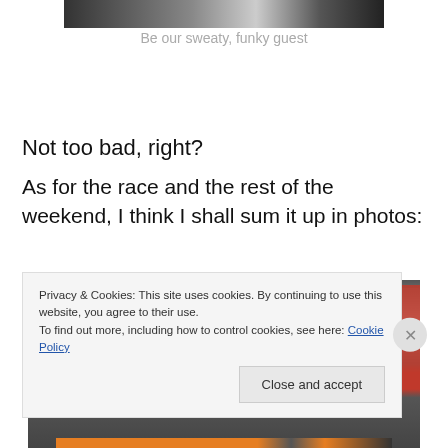[Figure (photo): Partial photo at top of page, cropped, showing what appears to be a person]
Be our sweaty, funky guest
Not too bad, right?
As for the race and the rest of the weekend, I think I shall sum it up in photos:
[Figure (photo): Photo of what appears to be a car exterior or vehicle detail, with gray and red tones]
Privacy & Cookies: This site uses cookies. By continuing to use this website, you agree to their use.
To find out more, including how to control cookies, see here: Cookie Policy